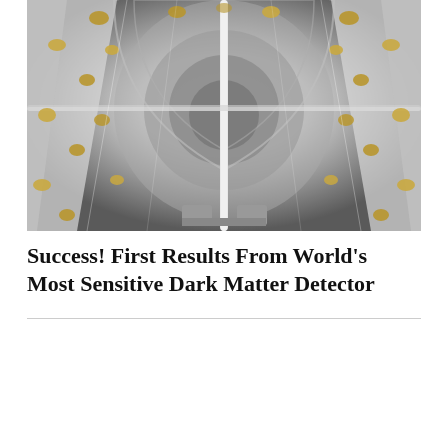[Figure (photo): Interior view looking upward through a cylindrical particle detector. The structure is white and reflective, with numerous golden photomultiplier tubes mounted on the curved walls. Support rods and cables are visible running vertically through the center of the detector.]
Success! First Results From World's Most Sensitive Dark Matter Detector